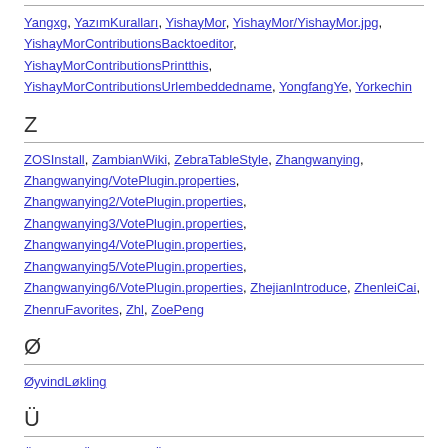XmlStorage/WikiView.xsl, Xxp
Y
Yangxg, YazımKuralları, YishayMor, YishayMor/YishayMor.jpg, YishayMorContributionsBacktoeditor, YishayMorContributionsPrintthis, YishayMorContributionsUrlembeddedname, YongfangYe, Yorkechin
Z
ZOSInstall, ZambianWiki, ZebraTableStyle, Zhangwanying, Zhangwanying/VotePlugin.properties, Zhangwanying2/VotePlugin.properties, Zhangwanying3/VotePlugin.properties, Zhangwanying4/VotePlugin.properties, Zhangwanying5/VotePlugin.properties, Zhangwanying6/VotePlugin.properties, ZhejianIntroduce, ZhenleiCai, ZhenruFavorites, Zhl, ZoePeng
Ø
ØyvindLøkling
Ü
ÜberUns, Übermäßig, Übermäßig/New Text